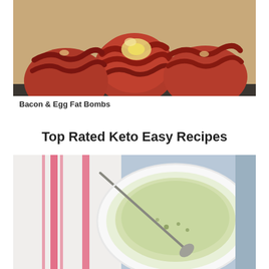[Figure (photo): Bacon and egg fat bombs on a baking sheet — round balls wrapped in crispy bacon with egg visible inside]
Bacon & Egg Fat Bombs
Top Rated Keto Easy Recipes
[Figure (photo): White bowl of creamy soup or sauce with a spoon, placed on a white and red striped cloth on a blue surface]